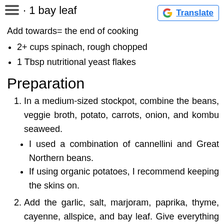1 bay leaf
[Figure (other): Google Translate button with G logo]
Add towards= the end of cooking
2+ cups spinach, rough chopped
1 Tbsp nutritional yeast flakes
Preparation
1. In a medium-sized stockpot, combine the beans, veggie broth, potato, carrots, onion, and kombu seaweed.
I used a combination of cannellini and Great Northern beans.
If using organic potatoes, I recommend keeping the skins on.
2. Add the garlic, salt, marjoram, paprika, thyme, cayenne, allspice, and bay leaf. Give everything a